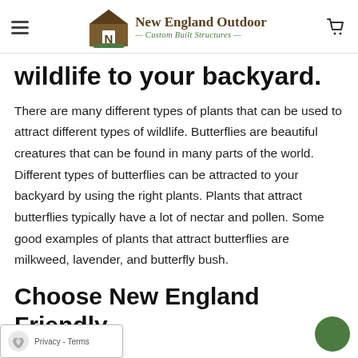New England Outdoor — Custom Built Structures
wildlife to your backyard.
There are many different types of plants that can be used to attract different types of wildlife. Butterflies are beautiful creatures that can be found in many parts of the world. Different types of butterflies can be attracted to your backyard by using the right plants. Plants that attract butterflies typically have a lot of nectar and pollen. Some good examples of plants that attract butterflies are milkweed, lavender, and butterfly bush.
Choose New England Friendly Vegetation